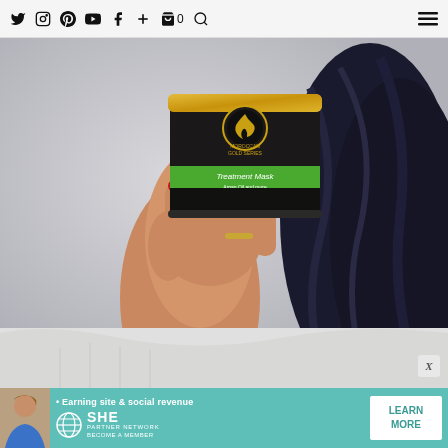Navigation bar with social icons: Twitter, Instagram, Pinterest, YouTube, Facebook, Plus, Cart (0), Search, Menu
[Figure (photo): Close-up photo of a woman's hand holding a dark jar of Moroccan Gold Series Treatment Mask hair product. The woman has long dark/black wavy hair and red painted nails. She is wearing a white/grey knit sweater. Background is light grey/blurred.]
[Figure (infographic): SHE Partner Network advertisement banner on teal/turquoise background. Shows a woman's photo on left, bullet point text '• Earning site & social revenue', SHE Media logo with globe icon, text 'PARTNER NETWORK / BECOME A MEMBER', and a white 'LEARN MORE' button on the right.]